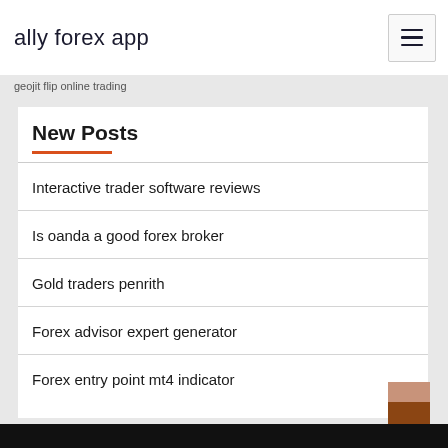ally forex app
geojit flip online trading
New Posts
Interactive trader software reviews
Is oanda a good forex broker
Gold traders penrith
Forex advisor expert generator
Forex entry point mt4 indicator